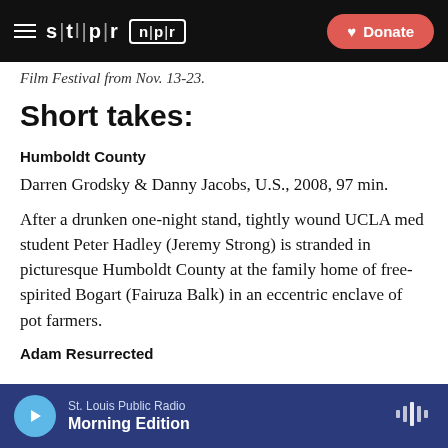STLPR NPR — Donate
Film Festival from Nov. 13-23.
Short takes:
Humboldt County
Darren Grodsky & Danny Jacobs, U.S., 2008, 97 min.
After a drunken one-night stand, tightly wound UCLA med student Peter Hadley (Jeremy Strong) is stranded in picturesque Humboldt County at the family home of free-spirited Bogart (Fairuza Balk) in an eccentric enclave of pot farmers.
Adam Resurrected
St. Louis Public Radio — Morning Edition